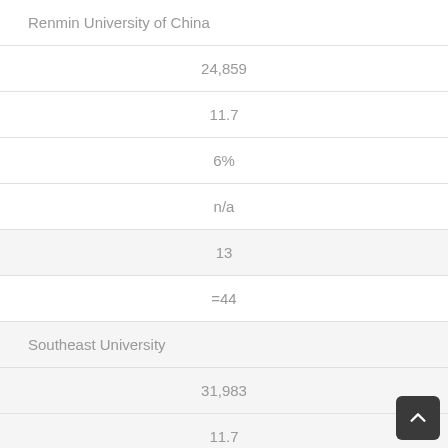| University | Value |
| --- | --- |
| Renmin University of China |  |
|  | 24,859 |
|  | 11.7 |
|  | 6% |
|  | n/a |
|  | 13 |
|  | =44 |
| Southeast University |  |
|  | 31,983 |
|  | 11.7 |
|  | 4% |